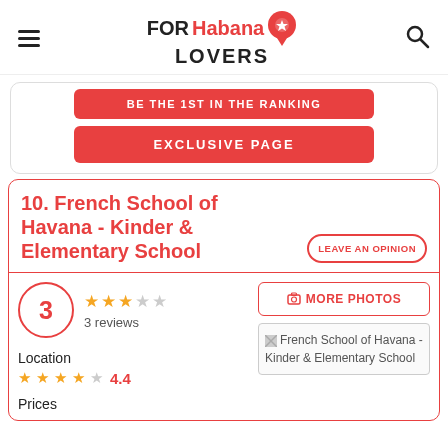FOR Habana LOVERS
BE THE 1ST IN THE RANKING
EXCLUSIVE PAGE
10. French School of Havana - Kinder & Elementary School
LEAVE AN OPINION
3
3 reviews
★★★☆☆
MORE PHOTOS
[Figure (photo): French School of Havana - Kinder & Elementary School placeholder image]
Location
★★★★☆ 4.4
Prices